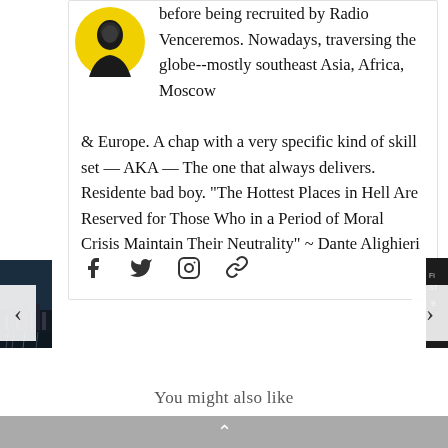[Figure (illustration): Circular avatar portrait with yellow background, showing a stylized black and white portrait illustration of a person]
before being recruited by Radio Venceremos. Nowadays, traversing the globe--mostly southeast Asia, Africa, Moscow & Europe. A chap with a very specific kind of skill set — AKA — The one that always delivers. Residente bad boy. "The Hottest Places in Hell Are Reserved for Those Who in a Period of Moral Crisis Maintain Their Neutrality" ~ Dante Alighieri
[Figure (infographic): Social media icons row: Facebook, Twitter, Instagram, and a link/chain icon]
[Figure (photo): Left side thumbnail image strip showing a dark cityscape photo]
[Figure (photo): Right side thumbnail strip showing a dark image with partial text 'Fi ST 9']
You might also like